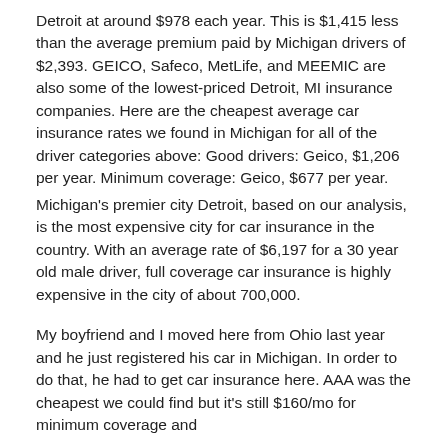Detroit at around $978 each year. This is $1,415 less than the average premium paid by Michigan drivers of $2,393. GEICO, Safeco, MetLife, and MEEMIC are also some of the lowest-priced Detroit, MI insurance companies. Here are the cheapest average car insurance rates we found in Michigan for all of the driver categories above: Good drivers: Geico, $1,206 per year. Minimum coverage: Geico, $677 per year.
Michigan's premier city Detroit, based on our analysis, is the most expensive city for car insurance in the country. With an average rate of $6,197 for a 30 year old male driver, full coverage car insurance is highly expensive in the city of about 700,000.
My boyfriend and I moved here from Ohio last year and he just registered his car in Michigan. In order to do that, he had to get car insurance here. AAA was the cheapest we could find but it's still $160/mo for minimum coverage and